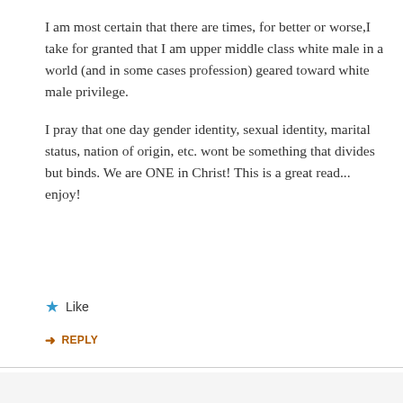I am most certain that there are times, for better or worse,I take for granted that I am upper middle class white male in a world (and in some cases profession) geared toward white male privilege.

I pray that one day gender identity, sexual identity, marital status, nation of origin, etc. wont be something that divides but binds. We are ONE in Christ! This is a great read... enjoy!
Like
REPLY
Advertisements
[Figure (screenshot): Dark advertisement banner for an online course platform with logo circle, bold teal 'Teach freely' heading, and subtitle 'Make money selling online courses.']